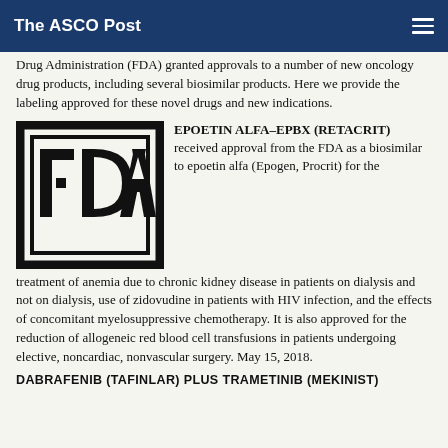The ASCO Post
Drug Administration (FDA) granted approvals to a number of new oncology drug products, including several biosimilar products. Here we provide the labeling approved for these novel drugs and new indications.
[Figure (logo): FDA logo — black block letters FDA in a rectangular border]
EPOETIN ALFA-EPBX (RETACRIT) received approval from the FDA as a biosimilar to epoetin alfa (Epogen, Procrit) for the treatment of anemia due to chronic kidney disease in patients on dialysis and not on dialysis, use of zidovudine in patients with HIV infection, and the effects of concomitant myelosuppressive chemotherapy. It is also approved for the reduction of allogeneic red blood cell transfusions in patients undergoing elective, noncardiac, nonvascular surgery. May 15, 2018.
DABRAFENIB (TAFINLAR) PLUS TRAMETINIB (MEKINIST)